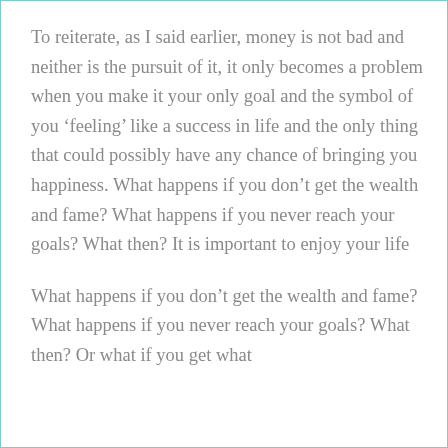To reiterate, as I said earlier, money is not bad and neither is the pursuit of it, it only becomes a problem when you make it your only goal and the symbol of you ‘feeling’ like a success in life and the only thing that could possibly have any chance of bringing you happiness. What happens if you don’t get the wealth and fame? What happens if you never reach your goals? What then? It is important to enjoy your life
What happens if you don’t get the wealth and fame? What happens if you never reach your goals? What then? Or what if you get what